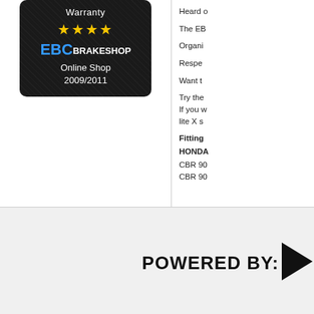[Figure (logo): EBC Brakeshop badge on dark carbon-fiber textured background. Shows 'Warranty' text at top, four yellow stars, 'EBC BRAKESHOP' logo in blue and white, and 'Online Shop 2009/2011' text below.]
Heard of ... The EB... Organi... Respe... Want t... Try the... If you w... lite X s...
Fitting
HONDA
CBR 90
CBR 90
POWERED BY:
[Figure (logo): Partial black triangle/arrow logo to the right of POWERED BY: text]